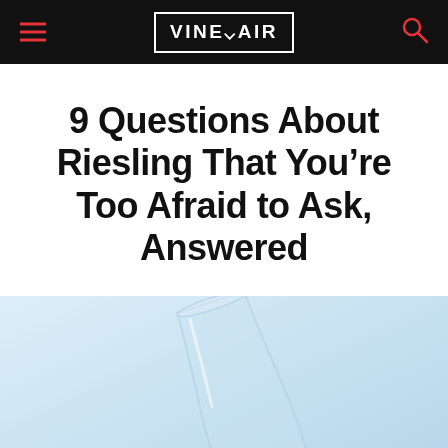VINEPAIR
9 Questions About Riesling That You're Too Afraid to Ask, Answered
[Figure (photo): A clear wine glass tilted on a light blue background]